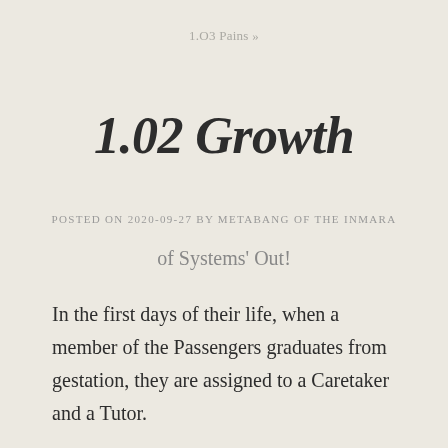1.O3 Pains »
1.02 Growth
POSTED ON 2020-09-27 BY METABANG OF THE INMARA
of Systems' Out!
In the first days of their life, when a member of the Passengers graduates from gestation, they are assigned to a Caretaker and a Tutor.